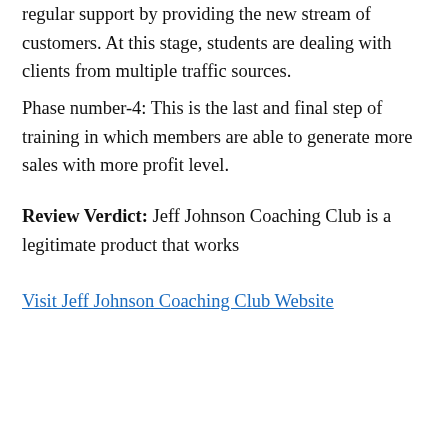regular support by providing the new stream of customers. At this stage, students are dealing with clients from multiple traffic sources.
Phase number-4: This is the last and final step of training in which members are able to generate more sales with more profit level.
Review Verdict: Jeff Johnson Coaching Club is a legitimate product that works
Visit Jeff Johnson Coaching Club Website